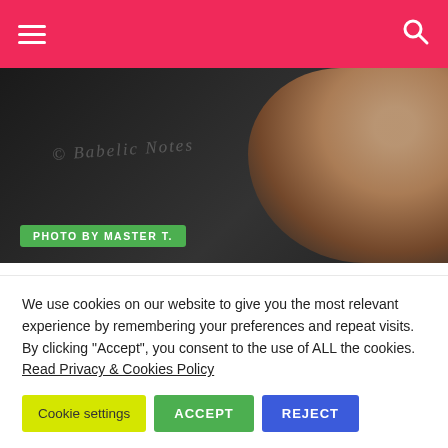Navigation bar with hamburger menu and search icon
[Figure (photo): Dark background photo with a hand/skin visible on the right side and a watermark text '© Babelic Notes' in the center. Green label 'PHOTO BY MASTER T.' overlaid at bottom left.]
PHOTO BY MASTER T.
On our way to Bristol
March 16, 2014 / 42 Comments
I will lie if I say that I haven't given the scavenger hunt a lot of...
We use cookies on our website to give you the most relevant experience by remembering your preferences and repeat visits. By clicking "Accept", you consent to the use of ALL the cookies. Read Privacy & Cookies Policy
Cookie settings | ACCEPT | REJECT